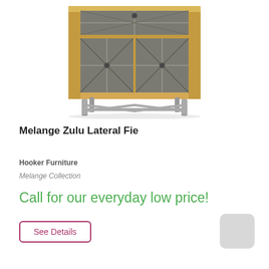[Figure (photo): A wooden lateral file cabinet with two geometric-patterned grey doors and one small drawer on top, featuring silver metal legs with X-shaped cross bracing.]
Melange Zulu Lateral Fie
Hooker Furniture
Melange Collection
Call for our everyday low price!
See Details
[Figure (illustration): Light grey rounded square swatch/color sample box]